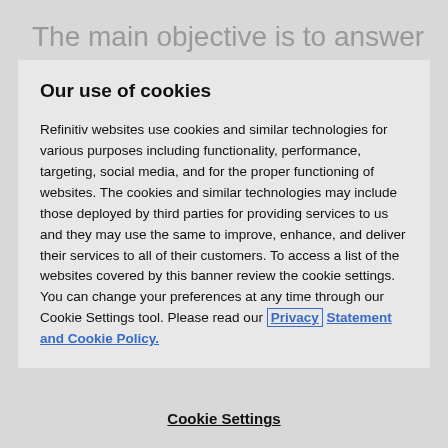The main objective is to answer the question of whether there is added value in incorporating
Our use of cookies
Refinitiv websites use cookies and similar technologies for various purposes including functionality, performance, targeting, social media, and for the proper functioning of websites. The cookies and similar technologies may include those deployed by third parties for providing services to us and they may use the same to improve, enhance, and deliver their services to all of their customers. To access a list of the websites covered by this banner review the cookie settings. You can change your preferences at any time through our Cookie Settings tool. Please read our Privacy Statement and Cookie Policy.
Cookie Settings